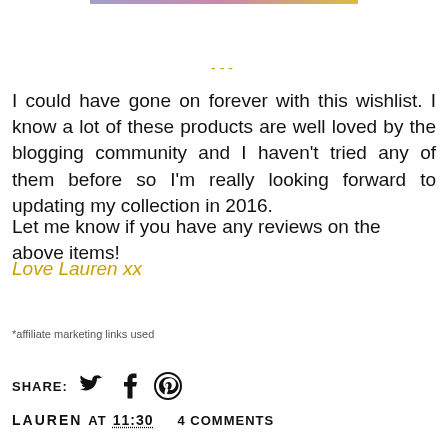---
I could have gone on forever with this wishlist. I know a lot of these products are well loved by the blogging community and I haven't tried any of them before so I'm really looking forward to updating my collection in 2016.
Let me know if you have any reviews on the above items!
Love Lauren xx
*affiliate marketing links used
SHARE:
LAUREN AT 11:30   4 COMMENTS